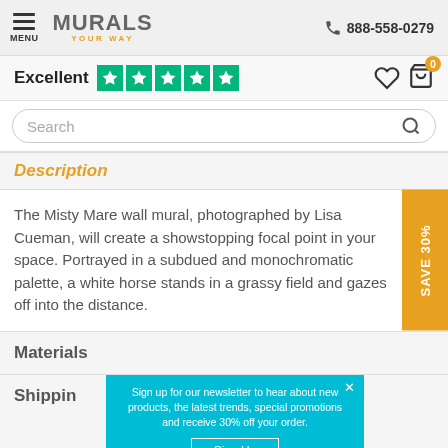MURALS YOUR WAY — 888-558-0279
Excellent ★★★★★
Search
Description
The Misty Mare wall mural, photographed by Lisa Cueman, will create a showstopping focal point in your space. Portrayed in a subdued and monochromatic palette, a white horse stands in a grassy field and gazes off into the distance.
SAVE 30%
Materials
Shipping
Sign up for our newsletter to hear about new products, the latest trends, special promotions and receive 30% off your order.
Sign Up
No thanks